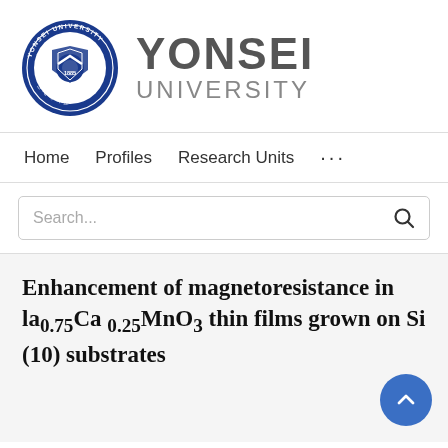[Figure (logo): Yonsei University logo: circular blue seal on left, 'YONSEI UNIVERSITY' text in grey on right]
Home   Profiles   Research Units   ...
Search...
Enhancement of magnetoresistance in la0.75Ca0.25MnO3 thin films grown on Si (100) substrates